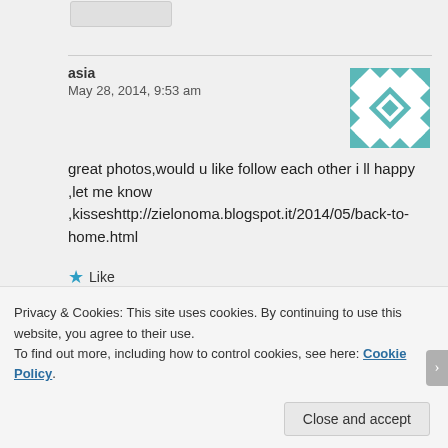asia
May 28, 2014, 9:53 am
[Figure (illustration): Teal and white geometric quilt-pattern avatar icon]
great photos,would u like follow each other i ll happy ,let me know ,kisseshttp://zielonoma.blogspot.it/2014/05/back-to-home.html
★ Like
Privacy & Cookies: This site uses cookies. By continuing to use this website, you agree to their use.
To find out more, including how to control cookies, see here: Cookie Policy.
Close and accept